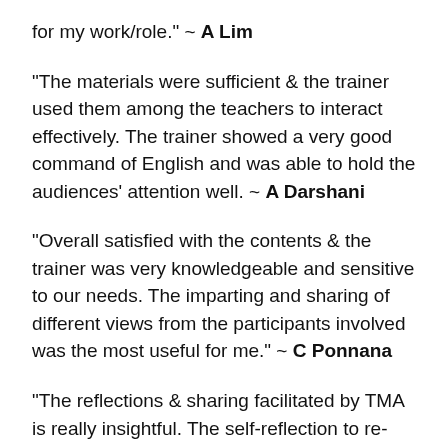for my work/role." ~ A Lim
"The materials were sufficient & the trainer used them among the teachers to interact effectively. The trainer showed a very good command of English and was able to hold the audiences' attention well. ~ A Darshani
"Overall satisfied with the contents & the trainer was very knowledgeable and sensitive to our needs. The imparting and sharing of different views from the participants involved was the most useful for me." ~ C Ponnana
"The reflections & sharing facilitated by TMA is really insightful. The self-reflection to re-visit the initial